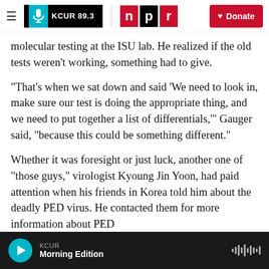KCUR 89.3 | NPR — Donate
molecular testing at the ISU lab. He realized if the old tests weren't working, something had to give.
“That’s when we sat down and said ‘We need to look in, make sure our test is doing the appropriate thing, and we need to put together a list of differentials,’” Gauger said, “because this could be something different.”
Whether it was foresight or just luck, another one of “those guys,” virologist Kyoung Jin Yoon, had paid attention when his friends in Korea told him about the deadly PED virus. He contacted them for more information about PED
KCUR — Morning Edition